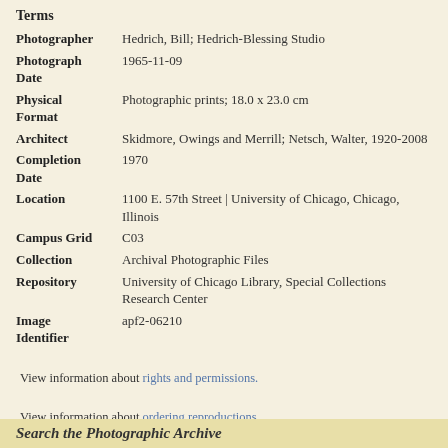Terms
| Field | Value |
| --- | --- |
| Photographer | Hedrich, Bill; Hedrich-Blessing Studio |
| Photograph Date | 1965-11-09 |
| Physical Format | Photographic prints; 18.0 x 23.0 cm |
| Architect | Skidmore, Owings and Merrill; Netsch, Walter, 1920-2008 |
| Completion Date | 1970 |
| Location | 1100 E. 57th Street | University of Chicago, Chicago, Illinois |
| Campus Grid | C03 |
| Collection | Archival Photographic Files |
| Repository | University of Chicago Library, Special Collections Research Center |
| Image Identifier | apf2-06210 |
View information about rights and permissions.
View information about ordering reproductions.
Search the Photographic Archive